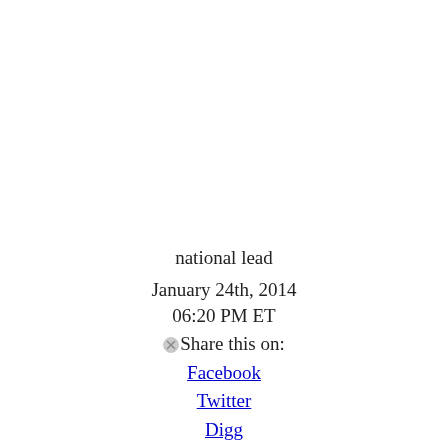national lead
January 24th, 2014
06:20 PM ET
Share this on:
Facebook
Twitter
Digg